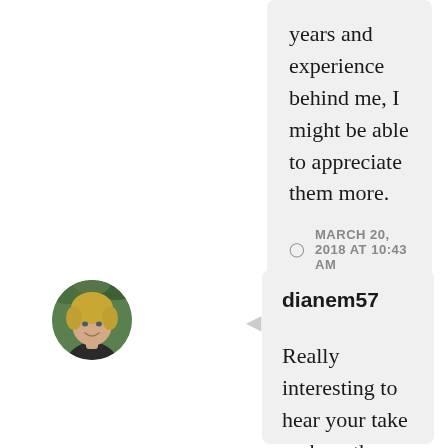years and experience behind me, I might be able to appreciate them more.
MARCH 20, 2018 AT 10:43 AM
REPLY
[Figure (photo): Circular avatar photo of a woman with short blonde hair, smiling, wearing a dark top, outdoors with green foliage background]
dianem57
Really interesting to hear your take on how the characters in these books are drawn in some